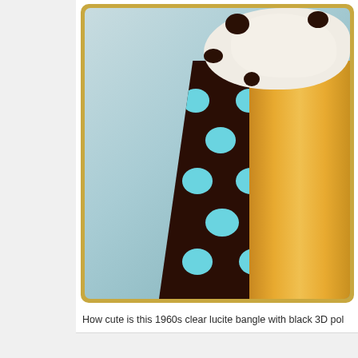[Figure (photo): Close-up photo of what appears to be a milkshake or ice cream drink in a tall amber/yellow glass, topped with whipped cream and dark chocolate balls, with a dark brown polka-dot (light blue dots) fabric/wrapper below, set against a light blue-green textured background. Image has a gold/tan border with rounded corners.]
How cute is this 1960s clear lucite bangle with black 3D pol
[Figure (photo): Partially visible photo at the bottom of the page showing what appears to be a woman with dark hair, with a light greenish background, framed with a cream/tan border with rounded corners.]